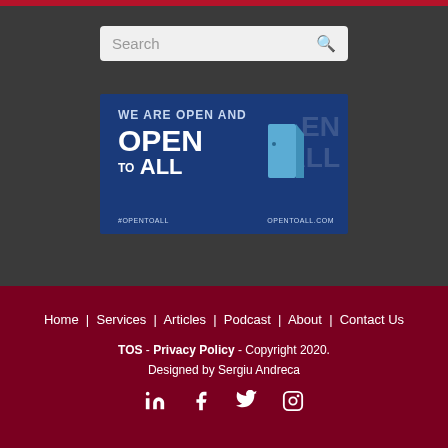[Figure (screenshot): Search bar with magnifying glass icon on dark grey background]
[Figure (illustration): Banner image: 'WE ARE OPEN AND OPEN TO ALL' with door graphic and text #OPENTOALL OPENTOALL.COM on blue background]
Home | Services | Articles | Podcast | About | Contact Us
TOS - Privacy Policy - Copyright 2020.
Designed by Sergiu Andreca
[LinkedIn] [Facebook] [Twitter] [Instagram]